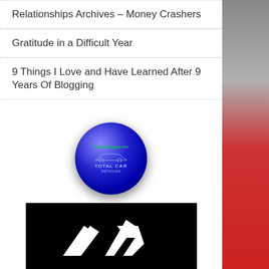Relationships Archives – Money Crashers
Gratitude in a Difficult Year
9 Things I Love and Have Learned After 9 Years Of Blogging
[Figure (logo): Blue circular badge with 'Proud Supporter' text in green, a car silhouette, and 'Total Car Detailing' branding]
[Figure (logo): Black rectangular banner with a white geometric angular logo and 'AAA CORPORATE' text in white italic]